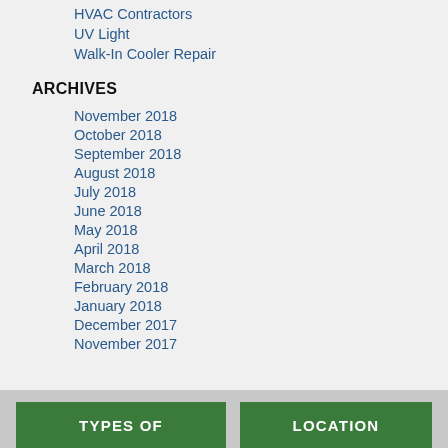HVAC Contractors
UV Light
Walk-In Cooler Repair
ARCHIVES
November 2018
October 2018
September 2018
August 2018
July 2018
June 2018
May 2018
April 2018
March 2018
February 2018
January 2018
December 2017
November 2017
TYPES OF
LOCATION